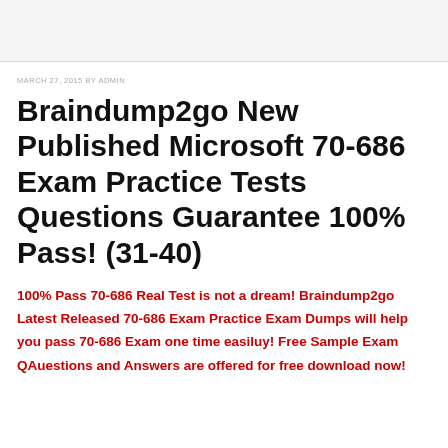MARCH 27, 2015 BY ADMIN
Braindump2go New Published Microsoft 70-686 Exam Practice Tests Questions Guarantee 100% Pass! (31-40)
100% Pass 70-686 Real Test is not a dream! Braindump2go Latest Released 70-686 Exam Practice Exam Dumps will help you pass 70-686 Exam one time easiluy! Free Sample Exam QAuestions and Answers are offered for free download now!